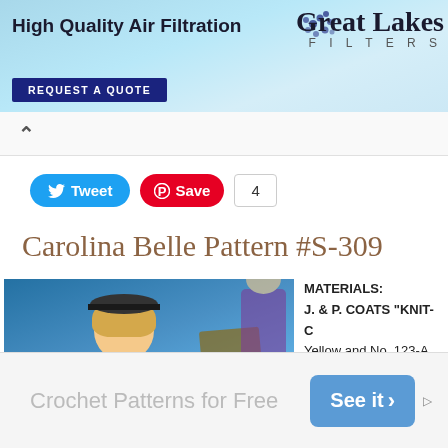[Figure (screenshot): Great Lakes Filters advertisement banner with blue sky background, 'High Quality Air Filtration' text, Great Lakes Filters logo, and 'REQUEST A QUOTE' button]
[Figure (screenshot): Browser navigation area with back arrow]
[Figure (screenshot): Social sharing buttons: Tweet (blue), Save (red Pinterest), and count of 4]
Carolina Belle Pattern #S-309
[Figure (photo): Photo of a doll wearing a crocheted outfit with a beret/hat, crocheted vest/bodice in gold and red, against a blue background. Another doll visible in background with purple crocheted outfit.]
MATERIALS:
J. & P. COATS "KNIT-CL
Yellow and No. 123-A Flar
CLARK'S O.N.T. BEST S
30: 1 ball of White.
Milwards Steel Crochet H
½ yard black velvet ribb
[Figure (screenshot): Bottom advertisement banner: 'Crochet Patterns for Free' with a blue 'See it >' button]